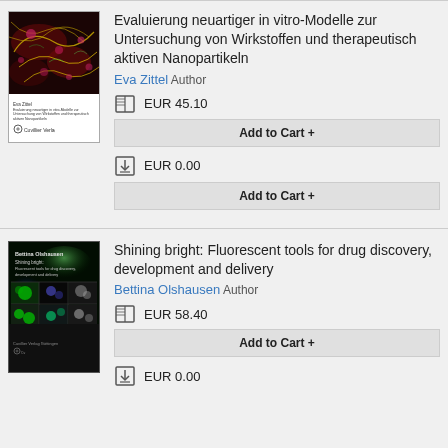[Figure (illustration): Book cover of 'Evaluierung neuartiger in vitro-Modelle zur Untersuchung von Wirkstoffen und therapeutisch aktiven Nanopartikeln' showing microscopy image of neurons/cells on dark red background with white publisher section at bottom]
Evaluierung neuartiger in vitro-Modelle zur Untersuchung von Wirkstoffen und therapeutisch aktiven Nanopartikeln
Eva Zittel Author
EUR 45.10
Add to Cart +
EUR 0.00
Add to Cart +
[Figure (illustration): Book cover of 'Shining bright: Fluorescent tools for drug discovery, development and delivery' showing fluorescence microscopy images of cells on dark green/black background]
Shining bright: Fluorescent tools for drug discovery, development and delivery
Bettina Olshausen Author
EUR 58.40
Add to Cart +
EUR 0.00